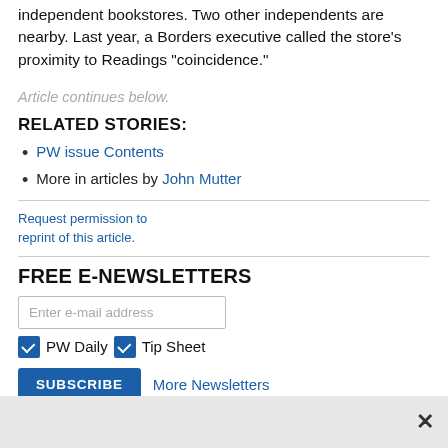independent bookstores. Two other independents are nearby. Last year, a Borders executive called the store's proximity to Readings "coincidence."
Article continues below.
RELATED STORIES:
PW issue Contents
More in articles by John Mutter
Request permission to reprint of this article.
FREE E-NEWSLETTERS
Enter e-mail address
PW Daily  Tip Sheet
SUBSCRIBE  More Newsletters